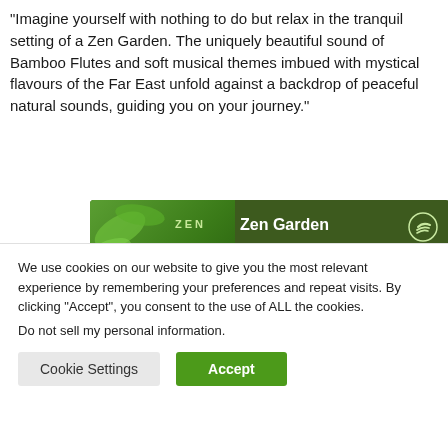“Imagine yourself with nothing to do but relax in the tranquil setting of a Zen Garden. The uniquely beautiful sound of Bamboo Flutes and soft musical themes imbued with mystical flavours of the Far East unfold against a backdrop of peaceful natural sounds, guiding you on your journey.”
[Figure (screenshot): Spotify music player widget showing 'Zen Garden' by Wychazel. Green themed widget with album art on left, play button, progress bar, skip and share controls. Track list shows '1. Zen Garden 7:56' at bottom.]
We use cookies on our website to give you the most relevant experience by remembering your preferences and repeat visits. By clicking “Accept”, you consent to the use of ALL the cookies.
Do not sell my personal information.
Cookie Settings
Accept